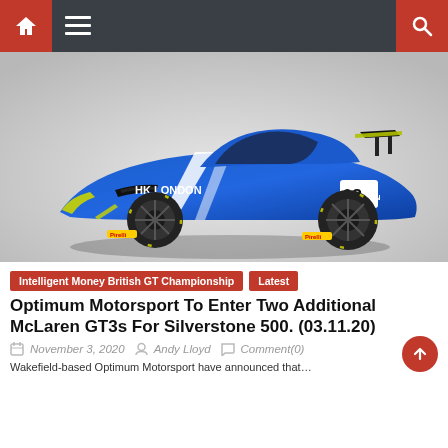Navigation bar with home, menu, and search icons
[Figure (photo): McLaren GT3 racing car with HK London #68 livery in blue, white, and neon yellow/green, shown on a grey studio background]
Intelligent Money British GT Championship  Latest
Optimum Motorsport To Enter Two Additional McLaren GT3s For Silverstone 500. (03.11.20)
November 3, 2020   Andy Lloyd   Comment(0)
Wakefield-based Optimum Motorsport have announced that